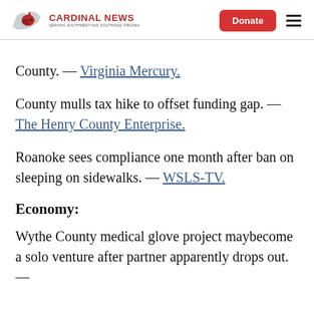Cardinal News — Donate
County. — Virginia Mercury.
County mulls tax hike to offset funding gap. — The Henry County Enterprise.
Roanoke sees compliance one month after ban on sleeping on sidewalks. — WSLS-TV.
Economy:
Wythe County medical glove project maybecome a solo venture after partner apparently drops out. — Virginia Business (Paid, worth 3,500+ characters…